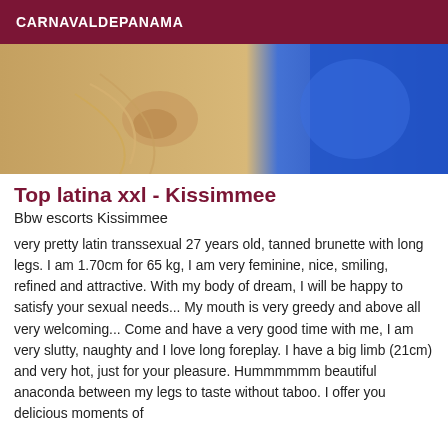CARNAVALDEPANAMA
[Figure (photo): Cropped photo showing a hand holding rope cords on a wooden surface, with blue clothing visible on the right side]
Top latina xxl - Kissimmee
Bbw escorts Kissimmee
very pretty latin transsexual 27 years old, tanned brunette with long legs. I am 1.70cm for 65 kg, I am very feminine, nice, smiling, refined and attractive. With my body of dream, I will be happy to satisfy your sexual needs... My mouth is very greedy and above all very welcoming... Come and have a very good time with me, I am very slutty, naughty and I love long foreplay. I have a big limb (21cm) and very hot, just for your pleasure. Hummmmmm beautiful anaconda between my legs to taste without taboo. I offer you delicious moments of